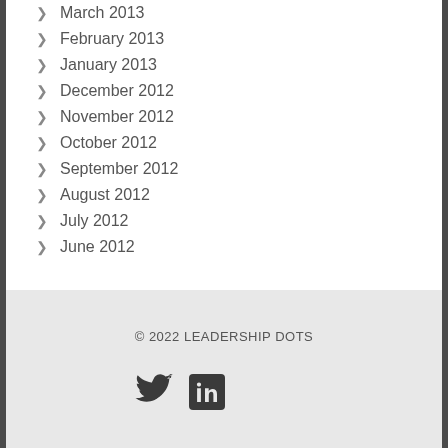March 2013
February 2013
January 2013
December 2012
November 2012
October 2012
September 2012
August 2012
July 2012
June 2012
© 2022 LEADERSHIP DOTS